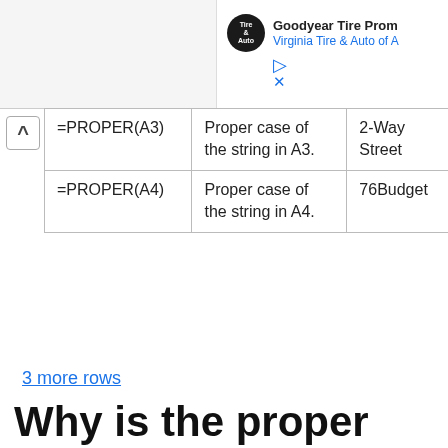[Figure (other): Advertisement bar with Goodyear Tire Promo and Virginia Tire & Auto of A logo and brand name, with play and close icons]
| =PROPER(A3) | Proper case of the string in A3. | 2-Way Street |
| =PROPER(A4) | Proper case of the string in A4. | 76Budget |
3 more rows
Why is the proper function not working in Excel?